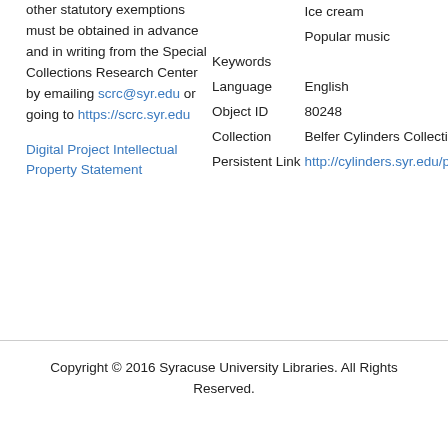other statutory exemptions must be obtained in advance and in writing from the Special Collections Research Center by emailing scrc@syr.edu or going to https://scrc.syr.edu
Digital Project Intellectual Property Statement
| Ice cream |
| Popular music |
| Keywords |  |
| Language | English |
| Object ID | 80248 |
| Collection | Belfer Cylinders Collection |
| Persistent Link | http://cylinders.syr.edu/p/belfer/belfer_cylinders.80248 |
Copyright © 2016 Syracuse University Libraries. All Rights Reserved.